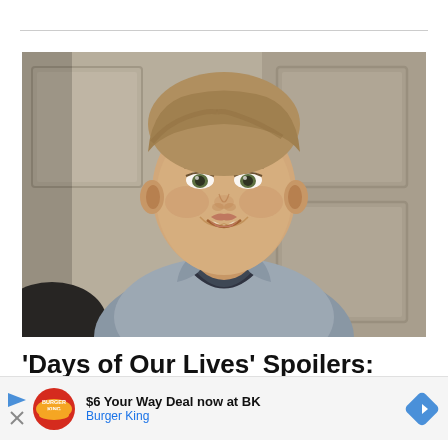[Figure (photo): A young man with short light brown hair, smiling, wearing a grey button-up shirt over a dark t-shirt, standing in front of a grey paneled door or wall.]
'Days of Our Lives' Spoilers: Claire Shocked At Tripp, Rape Allegations
[Figure (infographic): Burger King advertisement banner: '$6 Your Way Deal now at BK' with Burger King logo, play button, close button, and a blue diamond-shaped navigation arrow icon.]